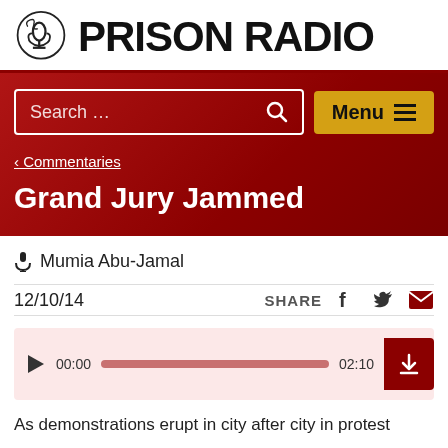[Figure (logo): Prison Radio logo with microphone icon and text PRISON RADIO]
‹ Commentaries
Grand Jury Jammed
🎤 Mumia Abu-Jamal
12/10/14    SHARE
[Figure (screenshot): Audio player showing 00:00 to 02:10 with play button and download button]
As demonstrations erupt in city after city in protest